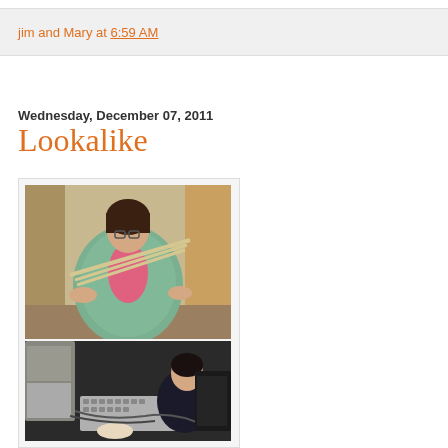jim and Mary at 6:59 AM
Wednesday, December 07, 2011
Lookalike
[Figure (photo): Two stacked photos: top shows a woman wearing a green floral robe and glasses holding what appears to be long sticks or rods in a room; bottom shows a person sitting at a desk with a keyboard and various items around them on a dark floor.]